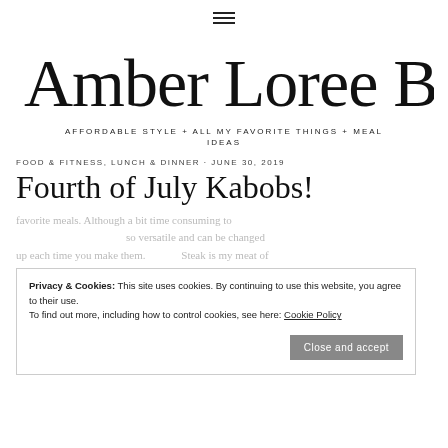≡ (hamburger menu icon)
Amber Loree Blog
AFFORDABLE STYLE + ALL MY FAVORITE THINGS + MEAL IDEAS
FOOD & FITNESS, LUNCH & DINNER · JUNE 30, 2019
Fourth of July Kabobs!
Privacy & Cookies: This site uses cookies. By continuing to use this website, you agree to their use. To find out more, including how to control cookies, see here: Cookie Policy
favorite meals. Although a bit time consuming to ... so versatile and can be changed up each time you make them. Steak is my meat of choice, but I used chicken this time as I was going